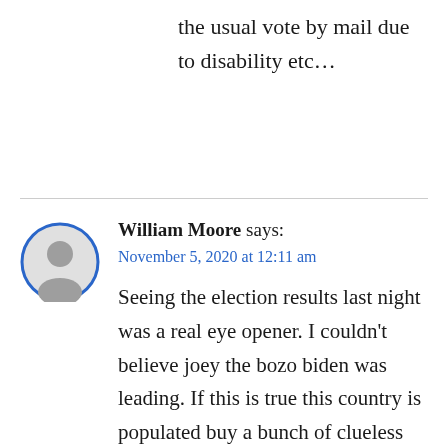the usual vote by mail due to disability etc…
William Moore says:
November 5, 2020 at 12:11 am

Seeing the election results last night was a real eye opener. I couldn't believe joey the bozo biden was leading. If this is true this country is populated buy a bunch of clueless idiots who don't know what they're getting. As for me, living in San Francisco, 'heels